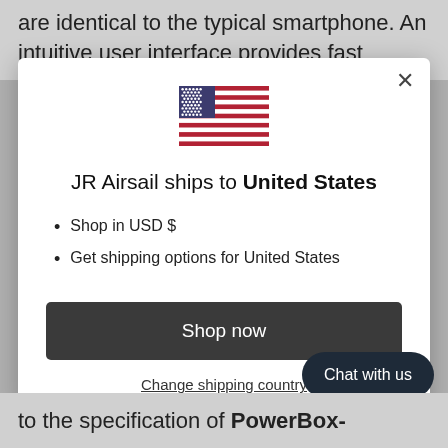are identical to the typical smartphone. An intuitive user interface provides fast access
[Figure (illustration): US flag icon]
JR Airsail ships to United States
Shop in USD $
Get shipping options for United States
Shop now
Change shipping country
Chat with us
to the specification of PowerBox-